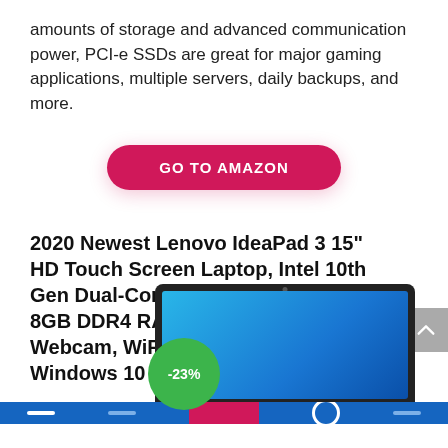amounts of storage and advanced communication power, PCI-e SSDs are great for major gaming applications, multiple servers, daily backups, and more.
[Figure (other): GO TO AMAZON button — a pill-shaped crimson/dark-pink button with white bold uppercase text]
2020 Newest Lenovo IdeaPad 3 15" HD Touch Screen Laptop, Intel 10th Gen Dual-Core i3-1005G1 CPU, 8GB DDR4 RAM, 256GB PCI-e SSD, Webcam, WiFi 5, Bluetooth, Windows 10 S – Almond
[Figure (photo): Laptop product photo showing a laptop with a blue-gradient screen. A green circular badge overlaid on the lower-left corner of the laptop shows '-23%' discount.]